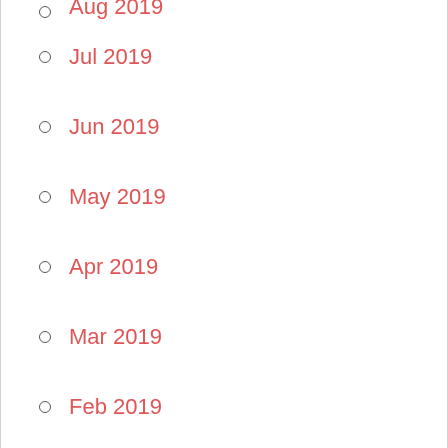Jul 2019
Jun 2019
May 2019
Apr 2019
Mar 2019
Feb 2019
Jan 2019
Dec 2018
Nov 2018
Oct 2018
Sep 2018
Aug 2018
Jul 2018
Jun 2018
May 2018